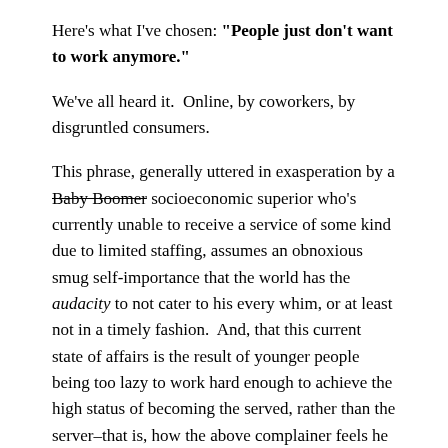Here's what I've chosen: "People just don't want to work anymore."
We've all heard it.  Online, by coworkers, by disgruntled consumers.
This phrase, generally uttered in exasperation by a Baby Boomer socioeconomic superior who's currently unable to receive a service of some kind due to limited staffing, assumes an obnoxious smug self-importance that the world has the audacity to not cater to his every whim, or at least not in a timely fashion.  And, that this current state of affairs is the result of younger people being too lazy to work hard enough to achieve the high status of becoming the served, rather than the server–that is, how the above complainer feels he has achieved said status.
Rephrased: "I suffered some bad jobs and now I have a good job and now other people need to suffer those bad jobs for my...